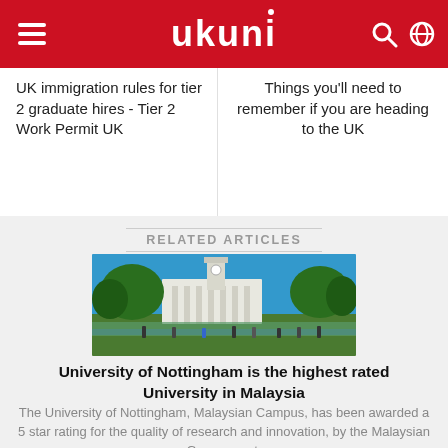ukuni
UK immigration rules for tier 2 graduate hires - Tier 2 Work Permit UK
Things you'll need to remember if you are heading to the UK
RELATED ARTICLES
[Figure (photo): University of Nottingham campus building with clock tower, trees, and students near a lake]
University of Nottingham is the highest rated University in Malaysia
The University of Nottingham, Malaysian Campus, has been awarded a 5 star rating for the quality of research and innovation, by the Malaysian Government.